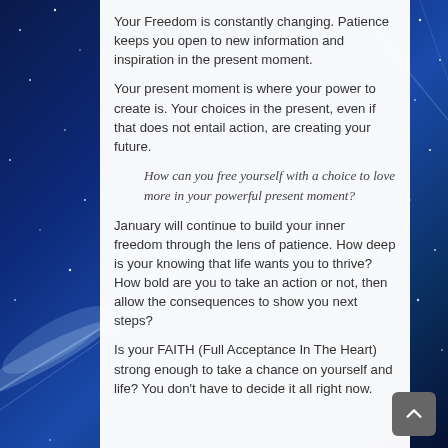Your Freedom is constantly changing. Patience keeps you open to new information and inspiration in the present moment.
Your present moment is where your power to create is. Your choices in the present, even if that does not entail action, are creating your future.
How can you free yourself with a choice to love more in your powerful present moment?
January will continue to build your inner freedom through the lens of patience. How deep is your knowing that life wants you to thrive? How bold are you to take an action or not, then allow the consequences to show you next steps?
Is your FAITH (Full Acceptance In The Heart) strong enough to take a chance on yourself and life? You don't have to decide it all right now.